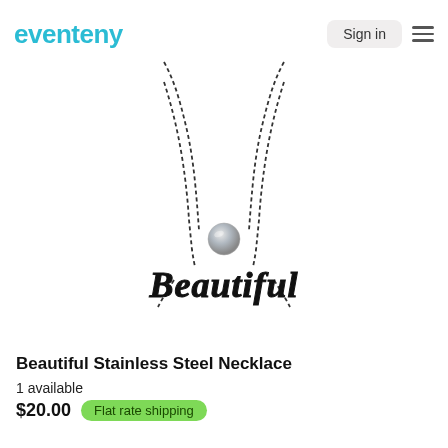eventeny
[Figure (photo): A double-layered black stainless steel necklace with a gray pearl bead on one strand and a decorative 'Beautiful' script pendant on the lower strand, photographed on white background.]
Beautiful Stainless Steel Necklace
1 available
$20.00  Flat rate shipping